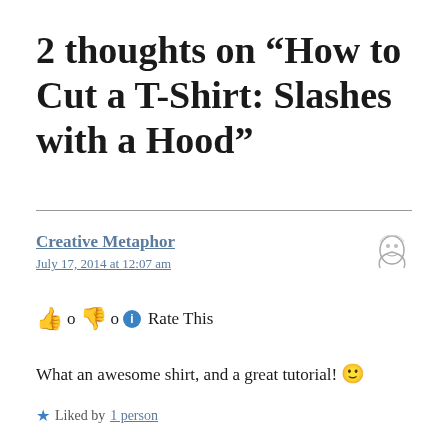2 thoughts on “How to Cut a T-Shirt: Slashes with a Hood”
Creative Metaphor
July 17, 2014 at 12:07 am
👍 o 👎 o ℹ Rate This
What an awesome shirt, and a great tutorial! 🙂
★ Liked by 1 person